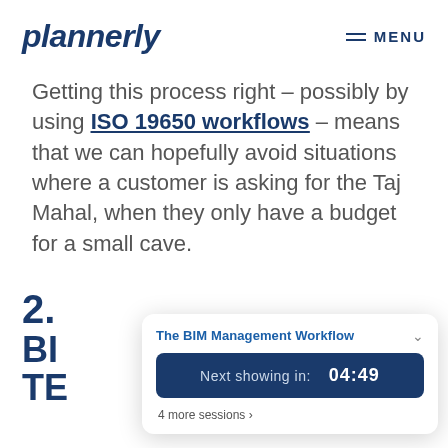plannerly   MENU
Getting this process right – possibly by using ISO 19650 workflows – means that we can hopefully avoid situations where a customer is asking for the Taj Mahal, when they only have a budget for a small cave.
[Figure (screenshot): Popup widget showing 'The BIM Management Workflow' with 'Next showing in: 04:49' and '4 more sessions >']
2. BIM TECHNOLOGY TO CONSIDER